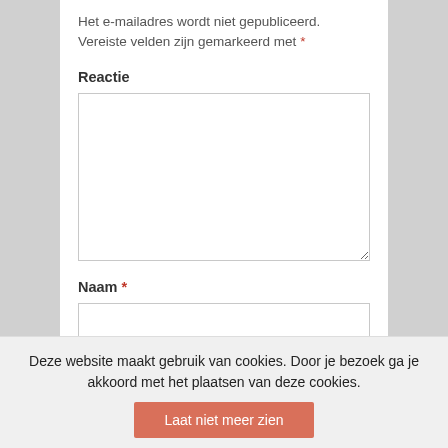Het e-mailadres wordt niet gepubliceerd. Vereiste velden zijn gemarkeerd met *
Reactie
Naam *
E-mail *
Deze website maakt gebruik van cookies. Door je bezoek ga je akkoord met het plaatsen van deze cookies.